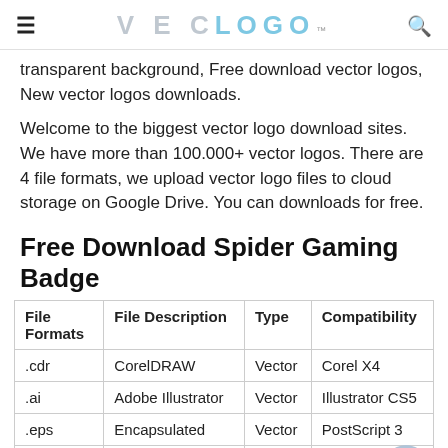VECLOGO™
transparent background, Free download vector logos, New vector logos downloads.
Welcome to the biggest vector logo download sites. We have more than 100.000+ vector logos. There are 4 file formats, we upload vector logo files to cloud storage on Google Drive. You can downloads for free.
Free Download Spider Gaming Badge
| File Formats | File Description | Type | Compatibility |
| --- | --- | --- | --- |
| .cdr | CorelDRAW | Vector | Corel X4 |
| .ai | Adobe Illustrator | Vector | Illustrator CS5 |
| .eps | Encapsulated PostScript | Vector | PostScript 3 |